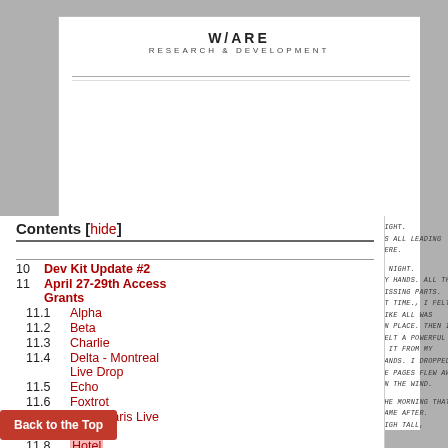W/ARE
RESEARCH & DEVELOPMENT
[Figure (illustration): Handwritten notes on lined paper visible on right side of page, partially obscured by TOC overlay. Text includes fragments: 'RIGHT.', "'S ALL LEADING HERE.", 'T NIGHT.', 'MY HANDS. ALL THE MISSING PARTS.', 'ST TIME., I FELT LIKE ALL WAS', 'IN PLACE. THEN I FELT A POWERFUL', 'G IT FROM MY HANDS. I DROPPED', 'HE PAGES FLEW AWAY IN THE WIND.', 'THE MORNING THAT CAME AFTER.', 'NIGH TALL, POINTING AT THE FORMER', 'ON, LONGING FOR ALL THIS', 'AT GOT AWAY.', 'D TO FIND ITS MISSING PIECES.' ]
Contents [hide]
10  Dev Kit Update #2
11  April 27-29th Access Grants
11.1  Alpha
11.2  Beta
11.3  Charlie
11.4  Delta - Montreal Live Drop
11.5  Echo
11.6  Foxtrot
11.7  Golf - Paris Live Drop
11.8  Hotel
Back to the Top
Task: Y10503
Traduction by S. Mulloe